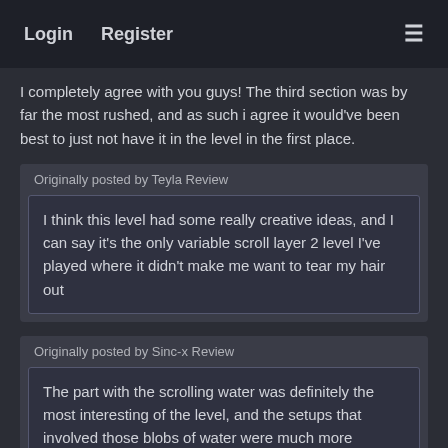Login   Register
I completely agree with you guys! The third section was by far the most rushed, and as such i agree it would've been best to just not have it in the level in the first place.
Originally posted by Teyla Review
I think this level had some really creative ideas, and I can say it's the only variable scroll layer 2 level I've played where it didn't make me want to tear my hair out
Originally posted by Sinc-x Review
The part with the scrolling water was definitely the most interesting of the level, and the setups that involved those blobs of water were much more enjoyable.
Originally posted by S.N.N. Review